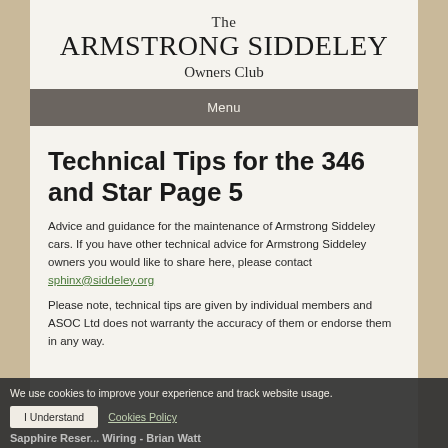The ARMSTRONG SIDDELEY Owners Club
Menu
Technical Tips for the 346 and Star Page 5
Advice and guidance for the maintenance of Armstrong Siddeley cars. If you have other technical advice for Armstrong Siddeley owners you would like to share here, please contact sphinx@siddeley.org
Please note, technical tips are given by individual members and ASOC Ltd does not warranty the accuracy of them or endorse them in any way.
Sapphire Reser... Wiring - Brian Watt
We use cookies to improve your experience and track website usage.
I Understand
Cookies Policy